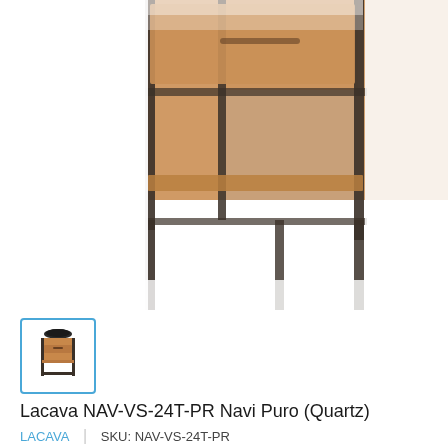[Figure (photo): Close-up photo of a wooden bathroom vanity cabinet with dark metal frame legs and an open shelf below, shown from the bottom half angle. Wood has warm brown tones with visible grain. Background is white.]
[Figure (photo): Small thumbnail image of the Lacava Navi Puro bathroom vanity with a black basin sink on top, wooden cabinet with one drawer, and open lower shelf with metal frame legs. Selected/highlighted with blue border.]
Lacava NAV-VS-24T-PR Navi Puro (Quartz)
LACAVA  |  SKU: NAV-VS-24T-PR